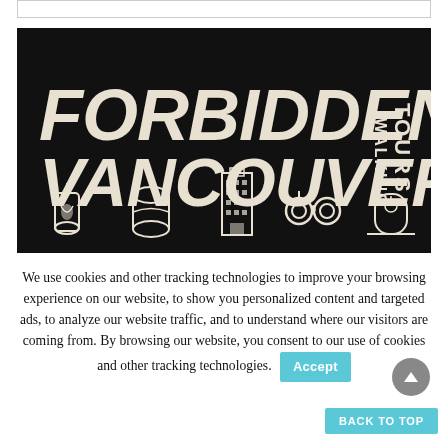[Figure (logo): Forbidden Vancouver Walking Tours logo on black background with illustrated icons: lantern, barrel, skyscraper, handcuffs, tombstone]
We use cookies and other tracking technologies to improve your browsing experience on our website, to show you personalized content and targeted ads, to analyze our website traffic, and to understand where our visitors are coming from. By browsing our website, you consent to our use of cookies and other tracking technologies.
Accept
BACK TO TOP